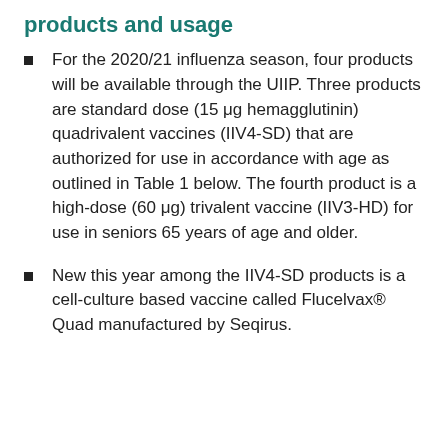products and usage
For the 2020/21 influenza season, four products will be available through the UIIP. Three products are standard dose (15 μg hemagglutinin) quadrivalent vaccines (IIV4-SD) that are authorized for use in accordance with age as outlined in Table 1 below. The fourth product is a high-dose (60 μg) trivalent vaccine (IIV3-HD) for use in seniors 65 years of age and older.
New this year among the IIV4-SD products is a cell-culture based vaccine called Flucelvax® Quad manufactured by Seqirus.